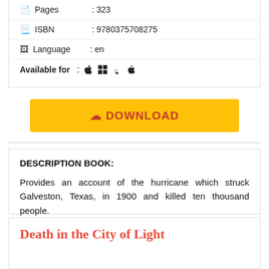| Pages | : 323 |
| ISBN | : 9780375708275 |
| Language | : en |
| Available for | : 🍎 ⊞ 🐧 🤖 |
[Figure (other): Yellow DOWNLOAD button with cloud icon]
DESCRIPTION BOOK:
Provides an account of the hurricane which struck Galveston, Texas, in 1900 and killed ten thousand people.
Death in the City of Light